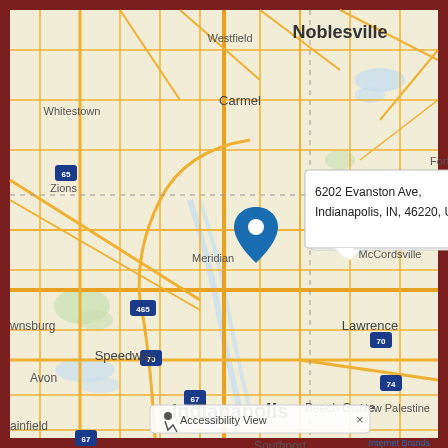[Figure (map): Street map of Indianapolis, Indiana area showing location pin at 6202 Evanston Ave, Indianapolis, IN, 46220, US. Map shows surrounding cities including Noblesville, Westfield, Carmel, McCordsville, Lawrence, Speedway, Beech Grove, Southport, Mooresville, New Palestine, London, Avon, Whitestown, Zionsville. Major highways visible including I-65, I-70, I-74, I-67, I-465. A popup callout reads '6202 Evanston Ave, Indianapolis, IN, 46220, US'. An Accessibility View button appears at the bottom. Internet Brands watermark at bottom right.]